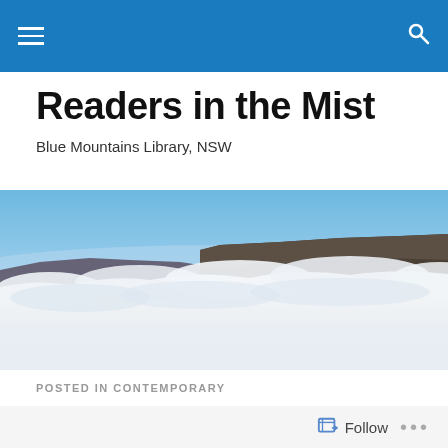Navigation bar with menu and search icons
Readers in the Mist
Blue Mountains Library, NSW
[Figure (photo): Panoramic landscape photo of the Blue Mountains NSW showing sandstone cliffs emerging above a sea of white cloud mist under a blue sky]
POSTED IN CONTEMPORARY
[Figure (photo): People standing in front of painted portrait artworks displayed in a library setting, with bookshelves visible in background]
Follow ...